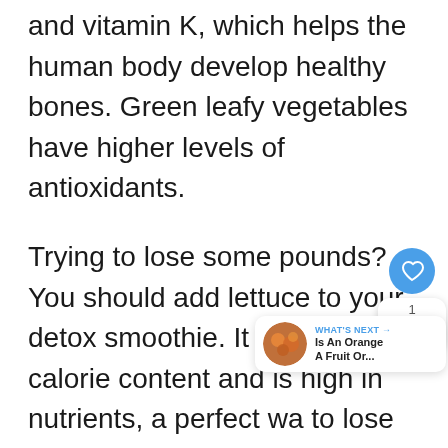and vitamin K, which helps the human body develop healthy bones. Green leafy vegetables have higher levels of antioxidants.
Trying to lose some pounds? You should add lettuce to your detox smoothie. It has low-calorie content and is high in nutrients, a perfect way to lose weight and still stay healthy.
Many people consume lettuce